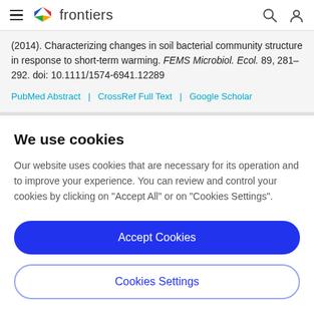frontiers
(2014). Characterizing changes in soil bacterial community structure in response to short-term warming. FEMS Microbiol. Ecol. 89, 281–292. doi: 10.1111/1574-6941.12289
PubMed Abstract | CrossRef Full Text | Google Scholar
We use cookies
Our website uses cookies that are necessary for its operation and to improve your experience. You can review and control your cookies by clicking on "Accept All" or on "Cookies Settings".
Accept Cookies
Cookies Settings